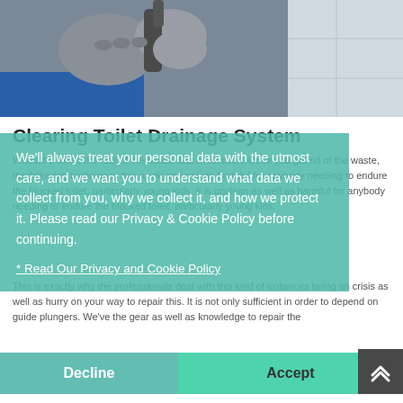[Figure (photo): Close-up photo of a person wearing grey work gloves handling a pipe or plumbing tool, wearing a blue work shirt, with a tiled wall background.]
Clearing Toilet Drainage System
Without a toilet, the rest of the house fails to function. Once you get rid of the waste, the following techniques this week and well as harmful for anybody needing to endure the blocked toilet, particularly young kids. It is unclean as well as harmful for anybody needing to endure the blocked toilet, particularly young kids.
We'll always treat your personal data with the utmost care, and we want you to understand what data we collect from you, why we collect it, and how we protect it. Please read our Privacy & Cookie Policy before continuing.
Read Our Privacy and Cookie Policy
This is exactly why the professionals deal with this kind of instances being an crisis as well as hurry on your way to repair this. It is not only sufficient in order to depend on guide plungers. We've the gear as well as knowledge to repair the
Decline
Accept